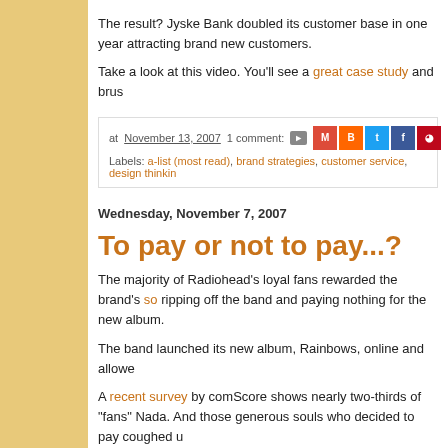The result? Jyske Bank doubled its customer base in one year attracting brand new customers.
Take a look at this video. You'll see a great case study and brus...
at November 13, 2007  1 comment:  Labels: a-list (most read), brand strategies, customer service, design thinkin...
Wednesday, November 7, 2007
To pay or not to pay...?
The majority of Radiohead's loyal fans rewarded the brand's so... ripping off the band and paying nothing for the new album.
The band launched its new album, Rainbows, online and allowe...
A recent survey by comScore shows nearly two-thirds of "fans" Nada. And those generous souls who decided to pay coughed...
This should come as a surprise to no one. Free wins every time done is set a fair price (say, $6) in exchange for stripping away shouldn't have to pay for in this digital age (e.g., distribution m...